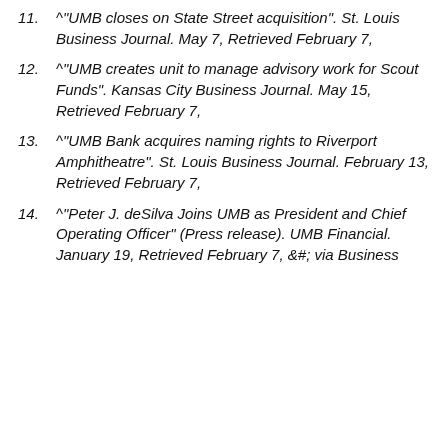11. ^ "UMB closes on State Street acquisition". St. Louis Business Journal. May 7, Retrieved February 7,
12. ^ "UMB creates unit to manage advisory work for Scout Funds". Kansas City Business Journal. May 15, Retrieved February 7,
13. ^ "UMB Bank acquires naming rights to Riverport Amphitheatre". St. Louis Business Journal. February 13, Retrieved February 7,
14. ^ "Peter J. deSilva Joins UMB as President and Chief Operating Officer" (Press release). UMB Financial. January 19, Retrieved February 7, &#; via Business